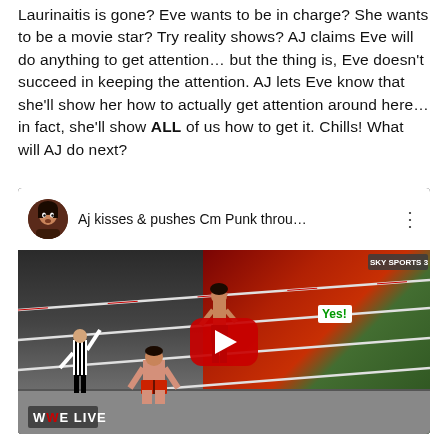Laurinaitis is gone? Eve wants to be in charge? She wants to be a movie star? Try reality shows? AJ claims Eve will do anything to get attention… but the thing is, Eve doesn't succeed in keeping the attention. AJ lets Eve know that she'll show her how to actually get attention around here… in fact, she'll show ALL of us how to get it. Chills! What will AJ do next?
[Figure (screenshot): Embedded YouTube video thumbnail showing 'Aj kisses & pushes Cm Punk throu...' with a WWE wrestling match scene, play button overlay, channel avatar of a person, and WWE Live watermark.]